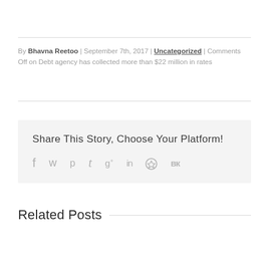By Bhavna Reetoo | September 7th, 2017 | Uncategorized | Comments Off on Debt agency has collected more than $22 million in rates
Share This Story, Choose Your Platform!
[Figure (infographic): Social media sharing icons: Facebook, Twitter, Pinterest, Tumblr, Google+, LinkedIn, Reddit, VK]
Related Posts